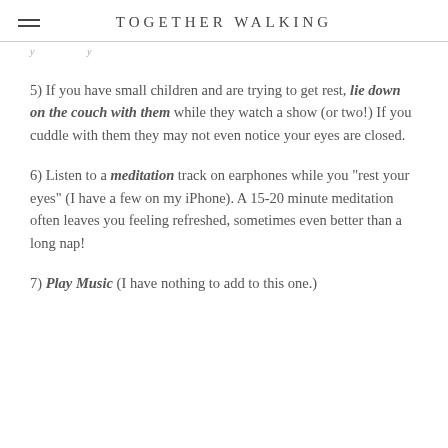TOGETHER WALKING
y…y
5) If you have small children and are trying to get rest, lie down on the couch with them while they watch a show (or two!) If you cuddle with them they may not even notice your eyes are closed.
6) Listen to a meditation track on earphones while you "rest your eyes" (I have a few on my iPhone). A 15-20 minute meditation often leaves you feeling refreshed, sometimes even better than a long nap!
7) Play Music (I have nothing to add to this one.)